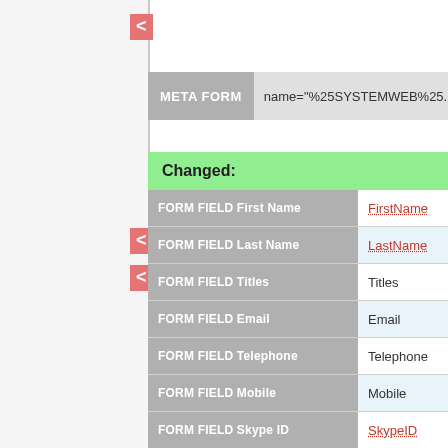<
META FORM name="%25SYSTEMWEB%25.UserForm"
Changed:
<
<
| Field | Name | Value |
| --- | --- | --- |
| FORM FIELD First Name | FirstName | Simon |
| FORM FIELD Last Name | LastName | Radford |
| FORM FIELD Titles | Titles |  |
| FORM FIELD Email | Email |  |
| FORM FIELD Telephone | Telephone |  |
| FORM FIELD Mobile | Mobile |  |
| FORM FIELD Skype ID | SkypeID |  |
| FORM FIELD Department | Department |  |
| FORM FIELD Organization | Organization |  |
| FORM FIELD URL | URL |  |
| FORM FIELD Location | Location |  |
| FORM FIELD Region | Region |  |